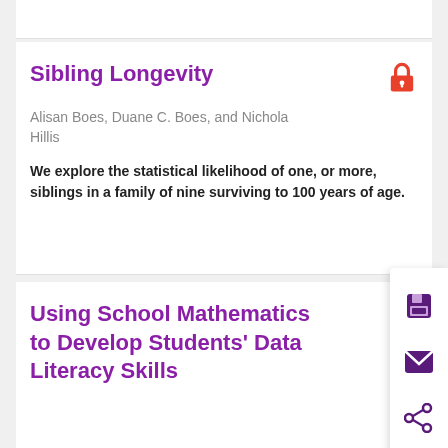Sibling Longevity
Alisan Boes, Duane C. Boes, and Nichola Hillis
We explore the statistical likelihood of one, or more, siblings in a family of nine surviving to 100 years of age.
[Figure (screenshot): Sidebar with save, email, and share icons in purple]
Using School Mathematics to Develop Students' Data Literacy Skills